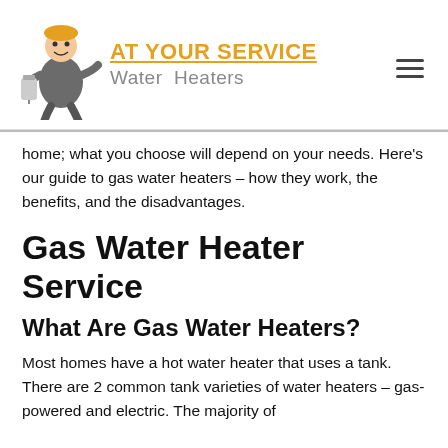[Figure (logo): At Your Service Water Heaters logo with cartoon plumber character holding a water heater, orange text 'AT YOUR SERVICE' underlined, grey text 'Water Heaters']
home; what you choose will depend on your needs. Here's our guide to gas water heaters – how they work, the benefits, and the disadvantages.
Gas Water Heater Service
What Are Gas Water Heaters?
Most homes have a hot water heater that uses a tank. There are 2 common tank varieties of water heaters – gas-powered and electric. The majority of American households use gas-powered water heaters with